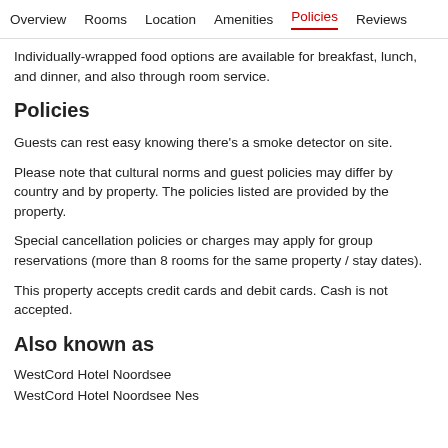Overview  Rooms  Location  Amenities  Policies  Reviews
Individually-wrapped food options are available for breakfast, lunch, and dinner, and also through room service.
Policies
Guests can rest easy knowing there's a smoke detector on site.
Please note that cultural norms and guest policies may differ by country and by property. The policies listed are provided by the property.
Special cancellation policies or charges may apply for group reservations (more than 8 rooms for the same property / stay dates).
This property accepts credit cards and debit cards. Cash is not accepted.
Also known as
WestCord Hotel Noordsee
WestCord Hotel Noordsee Nes